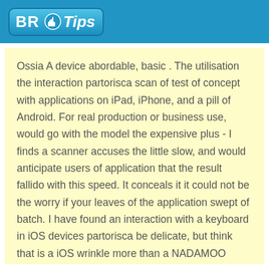BR Tips
Ossia A device abordable, basic . The utilisation the interaction partorisca scan of test of concept with applications on iPad, iPhone, and a pill of Android. For real production or business use, would go with the model the expensive plus - I finds a scanner accuses the little slow, and would anticipate users of application that the result fallido with this speed. It conceals it it could not be the worry if your leaves of the application swept of batch. I have found an interaction with a keyboard in iOS devices partorisca be delicate, but think that is a iOS wrinkle more than a NADAMOO